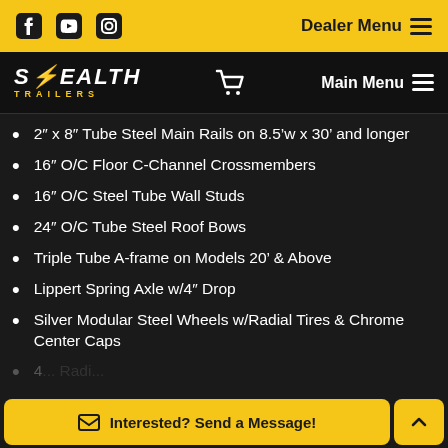Facebook YouTube Instagram | Dealer Menu
Stealth Trailers — Main Menu
2" x 8" Tube Steel Main Rails on 8.5'w x 30' and longer
16" O/C Floor C-Channel Crossmembers
16" O/C Steel Tube Wall Studs
24" O/C Tube Steel Roof Bows
Triple Tube A-frame on Models 20' & Above
Lippert Spring Axle w/4" Drop
Silver Modular Steel Wheels w/Radial Tires & Chrome Center Caps
4... Radi...
Interested? Send a Message!